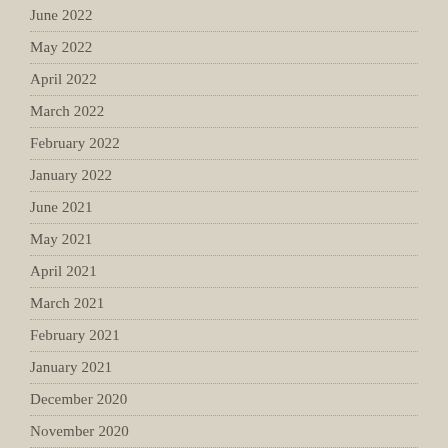June 2022
May 2022
April 2022
March 2022
February 2022
January 2022
June 2021
May 2021
April 2021
March 2021
February 2021
January 2021
December 2020
November 2020
October 2020
September 2020